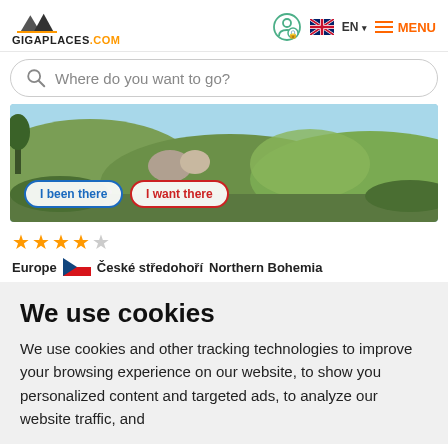[Figure (logo): Gigaplaces.com logo with mountain peaks and orange accent text]
[Figure (screenshot): Navigation header with user icon, UK flag EN language selector, and orange MENU button]
Where do you want to go?
[Figure (photo): Landscape photo of rocky hillside with green vegetation and blue sky. Contains two buttons: 'I been there' (blue outline) and 'I want there' (red outline)]
[Figure (infographic): 4 out of 5 orange stars rating]
Europe  České středohoří  Northern Bohemia
We use cookies
We use cookies and other tracking technologies to improve your browsing experience on our website, to show you personalized content and targeted ads, to analyze our website traffic, and